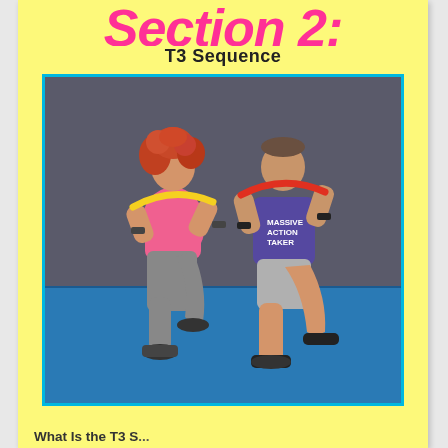Section 2:
T3 Sequence
[Figure (photo): Two people performing a high-knee exercise with resistance bands. A woman with curly red hair wearing a pink top and grey leggings holds a yellow resistance band, and a man in a purple t-shirt and grey shorts holds a red resistance band, both on a blue mat against a dark background.]
What Is the T3 S...